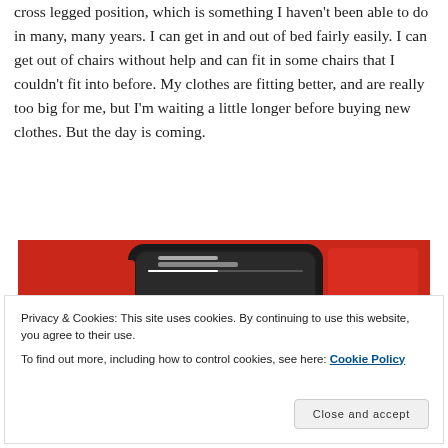cross legged position, which is something I haven't been able to do in many, many years. I can get in and out of bed fairly easily. I can get out of chairs without help and can fit in some chairs that I couldn't fit into before. My clothes are fitting better, and are really too big for me, but I'm waiting a little longer before buying new clothes. But the day is coming.
[Figure (photo): A smartphone with a red case displaying a podcast/audio player interface, placed against a red background.]
Privacy & Cookies: This site uses cookies. By continuing to use this website, you agree to their use.
To find out more, including how to control cookies, see here: Cookie Policy
Close and accept